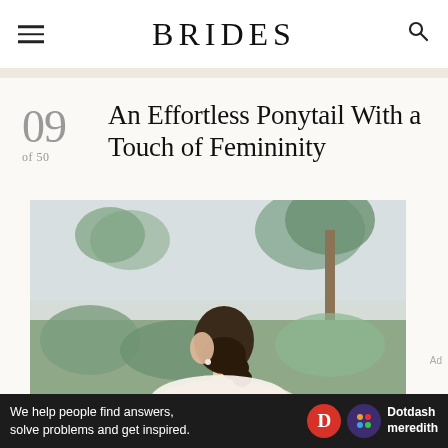BRIDES
09 of 50 An Effortless Ponytail With a Touch of Femininity
[Figure (photo): Bride with dark hair in a low ponytail, seen from behind/side profile, outdoors with palm trees and green foliage in the background, soft natural lighting]
We help people find answers, solve problems and get inspired. Dotdash meredith